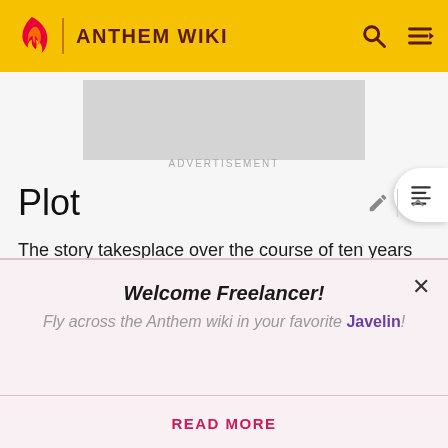ANTHEM WIKI
[Figure (screenshot): Advertisement placeholder box]
ADVERTISEMENT
Plot
The story takesplace over the course of ten years before the Heart of Rage is unleashed in Freemark by the Dominion, starting from 448 LV , and ends with the cataclysm destroying the once proud Freelancer city in 458 LV.
Welcome Freelancer! Fly across the Anthem wiki in your favorite Javelin!
READ MORE